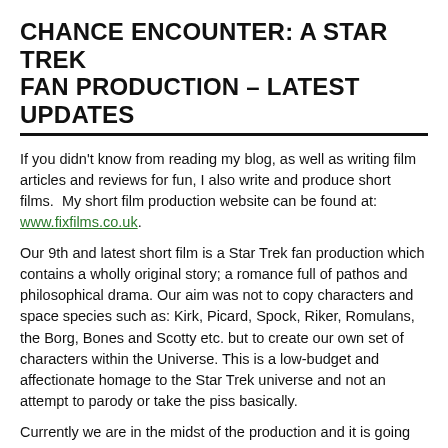CHANCE ENCOUNTER: A STAR TREK FAN PRODUCTION – LATEST UPDATES
If you didn't know from reading my blog, as well as writing film articles and reviews for fun, I also write and produce short films.  My short film production website can be found at: www.fixfilms.co.uk.
Our 9th and latest short film is a Star Trek fan production which contains a wholly original story; a romance full of pathos and philosophical drama. Our aim was not to copy characters and space species such as: Kirk, Picard, Spock, Riker, Romulans, the Borg, Bones and Scotty etc. but to create our own set of characters within the Universe. This is a low-budget and affectionate homage to the Star Trek universe and not an attempt to parody or take the piss basically.
Currently we are in the midst of the production and it is going